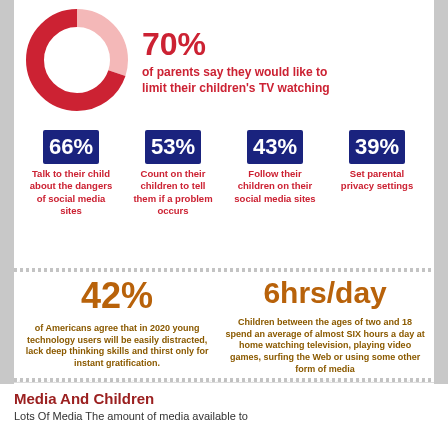[Figure (donut-chart): 70% of parents say they would like to limit their children's TV watching]
66% Talk to their child about the dangers of social media sites
53% Count on their children to tell them if a problem occurs
43% Follow their children on their social media sites
39% Set parental privacy settings
42% of Americans agree that in 2020 young technology users will be easily distracted, lack deep thinking skills and thirst only for instant gratification.
6hrs/day Children between the ages of two and 18 spend an average of almost SIX hours a day at home watching television, playing video games, surfing the Web or using some other form of media
What Do YOU Think Of This?
Media And Children
Lots Of Media The amount of media available to